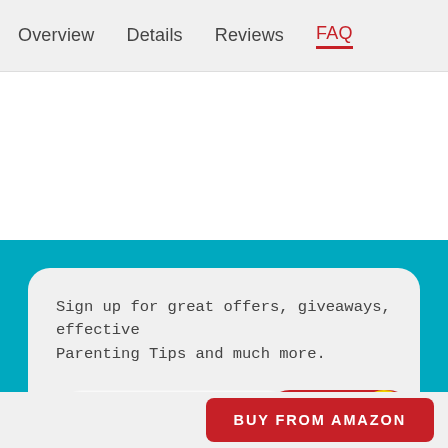Overview  Details  Reviews  FAQ
Sign up for great offers, giveaways, effective Parenting Tips and much more.
Enter your email  SUBSCRIBE
BUY FROM AMAZON